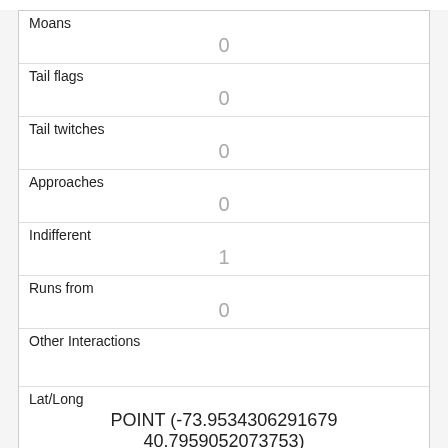| Moans | 0 |
| Tail flags | 0 |
| Tail twitches | 0 |
| Approaches | 0 |
| Indifferent | 1 |
| Runs from | 0 |
| Other Interactions |  |
| Lat/Long | POINT (-73.9534306291679 40.7959052073753) |
| Link | 407 |
| rowid | 407 |